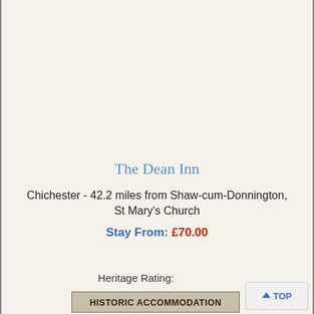The Dean Inn
Chichester - 42.2 miles from Shaw-cum-Donnington, St Mary's Church
Stay From: £70.00
Heritage Rating:
HISTORIC ACCOMMODATION